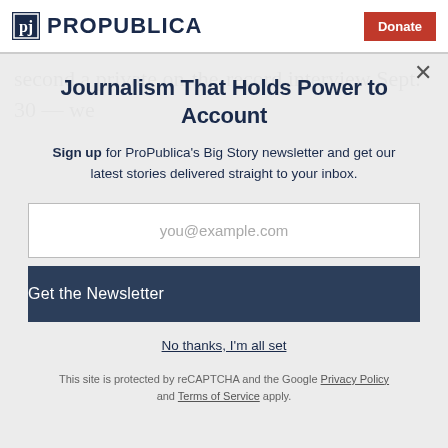ProPublica | Donate
second a private on-the-record interview Sept. 30 — we
Journalism That Holds Power to Account
Sign up for ProPublica's Big Story newsletter and get our latest stories delivered straight to your inbox.
you@example.com
Get the Newsletter
No thanks, I'm all set
This site is protected by reCAPTCHA and the Google Privacy Policy and Terms of Service apply.